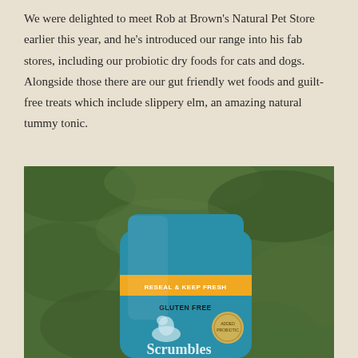We were delighted to meet Rob at Brown's Natural Pet Store earlier this year, and he's introduced our range into his fab stores, including our probiotic dry foods for cats and dogs. Alongside those there are our gut friendly wet foods and guilt-free treats which include slippery elm, an amazing natural tummy tonic.
[Figure (photo): A teal/blue pet food pouch (Scrumbles brand) photographed outdoors on a green grassy background. The pouch has an orange banner reading 'RESEAL & KEEP FRESH' and text 'GLUTEN FREE' below it, along with a circular badge. The Scrumbles brand name is visible at the bottom of the pouch.]